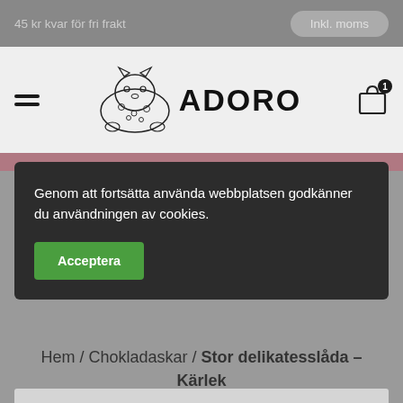45 kr kvar för fri frakt | Inkl. moms
[Figure (logo): Adoro logo with leopard/cat illustration and bold text ADORO]
Genom att fortsätta använda webbplatsen godkänner du användningen av cookies.
Acceptera
Hem / Chokladaskar / Stor delikatesslåda – Kärlek